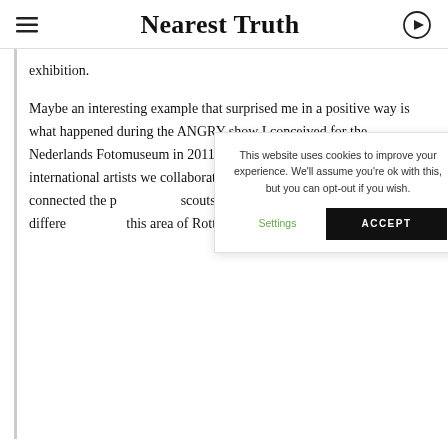Nearest Truth
exhibition.
Maybe an interesting example that surprised me in a positive way is what happened during the ANGRY show I conceived for the Nederlands Fotomuseum in 2011. Apart from a selection of Dutch and international artists we collaborat[ed with an] organisation based i[n Rotterdam] who connected the p[roject with] scouts who on their [part were] rooted in the differe[nt areas of] this area of Rotterdam (the museum is
This website uses cookies to improve your experience. We'll assume you're ok with this, but you can opt-out if you wish.